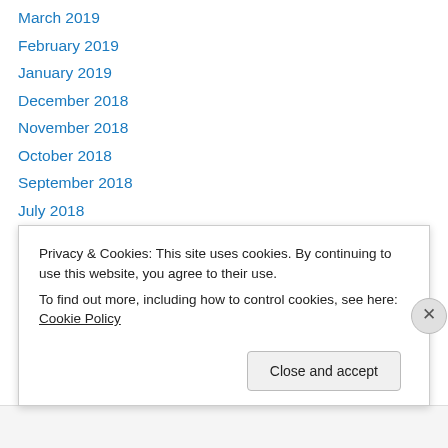March 2019
February 2019
January 2019
December 2018
November 2018
October 2018
September 2018
July 2018
June 2018
May 2018
April 2018
March 2018
January 2018
Privacy & Cookies: This site uses cookies. By continuing to use this website, you agree to their use.
To find out more, including how to control cookies, see here: Cookie Policy